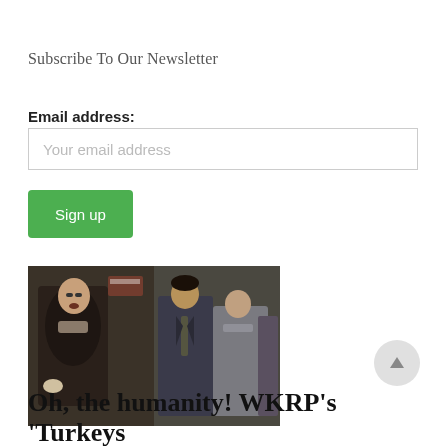Subscribe To Our Newsletter
Email address:
Your email address
Sign up
[Figure (photo): Two side-by-side TV show stills from WKRP in Cincinnati. Left: older man in dark coat with gloves speaking. Right: two men standing, one in a suit with a tie, another in a gray coat.]
Oh, the humanity! WKRP's 'Turkeys